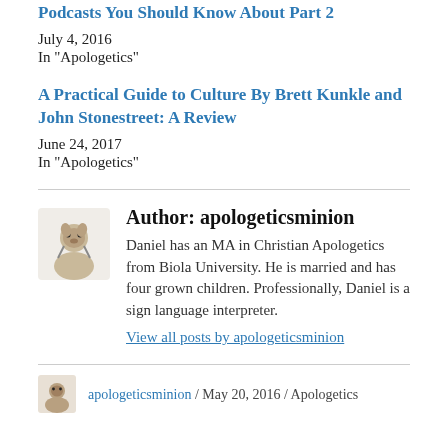Podcasts You Should Know About Part 2
July 4, 2016
In "Apologetics"
A Practical Guide to Culture By Brett Kunkle and John Stonestreet: A Review
June 24, 2017
In "Apologetics"
Author: apologeticsminion
Daniel has an MA in Christian Apologetics from Biola University. He is married and has four grown children. Professionally, Daniel is a sign language interpreter.
View all posts by apologeticsminion
apologeticsminion / May 20, 2016 / Apologetics